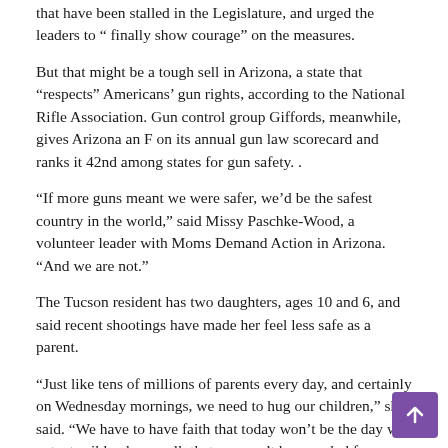that have been stalled in the Legislature, and urged the leaders to “ finally show courage” on the measures.
But that might be a tough sell in Arizona, a state that “respects” Americans’ gun rights, according to the National Rifle Association. Gun control group Giffords, meanwhile, gives Arizona an F on its annual gun law scorecard and ranks it 42nd among states for gun safety. .
“If more guns meant we were safer, we’d be the safest country in the world,” said Missy Paschke-Wood, a volunteer leader with Moms Demand Action in Arizona. “And we are not.”
The Tucson resident has two daughters, ages 10 and 6, and said recent shootings have made her feel less safe as a parent.
“Just like tens of millions of parents every day, and certainly on Wednesday mornings, we need to hug our children,” she said. “We have to have faith that today won’t be the day we get a terrible phone call, that we won’t be sampled for our DNA.”